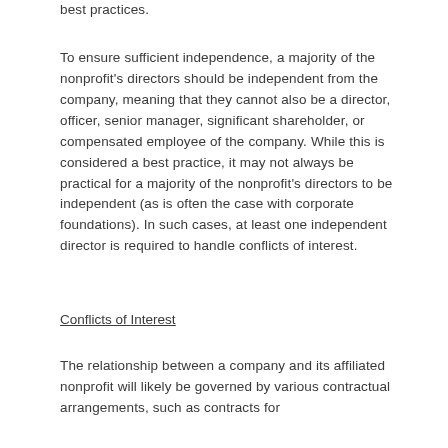best practices.
To ensure sufficient independence, a majority of the nonprofit's directors should be independent from the company, meaning that they cannot also be a director, officer, senior manager, significant shareholder, or compensated employee of the company. While this is considered a best practice, it may not always be practical for a majority of the nonprofit's directors to be independent (as is often the case with corporate foundations). In such cases, at least one independent director is required to handle conflicts of interest.
Conflicts of Interest
The relationship between a company and its affiliated nonprofit will likely be governed by various contractual arrangements, such as contracts for